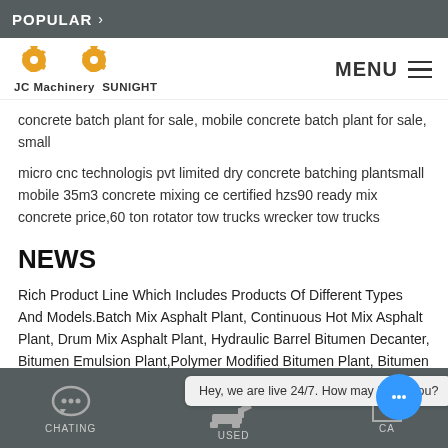POPULAR >
[Figure (logo): JC Machinery SUNIGHT logo with two gear icons and MENU hamburger]
concrete batch plant for sale, mobile concrete batch plant for sale, small
micro cnc technologis pvt limited dry concrete batching plantsmall mobile 35m3 concrete mixing ce certified hzs90 ready mix concrete price,60 ton rotator tow trucks wrecker tow trucks
NEWS
Rich Product Line Which Includes Products Of Different Types And Models.Batch Mix Asphalt Plant, Continuous Hot Mix Asphalt Plant, Drum Mix Asphalt Plant, Hydraulic Barrel Bitumen Decanter, Bitumen Emulsion Plant,Polymer Modified Bitumen Plant, Bitumen Tank and Components Of Asphalt Plant
+86-21-63353309  CHATING  USED  CA...  Hey, we are live 24/7. How may I help you?